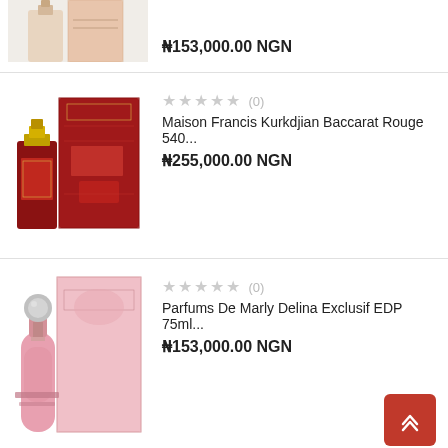[Figure (photo): Partial view of a perfume product image at top of page (cropped)]
₦153,000.00 NGN
[Figure (photo): Maison Francis Kurkdjian Baccarat Rouge 540 perfume bottle and red box]
★★★★★ (0)
Maison Francis Kurkdjian Baccarat Rouge 540...
₦255,000.00 NGN
[Figure (photo): Parfums De Marly Delina Exclusif EDP 75ml pink perfume bottle and pink box]
★★★★★ (0)
Parfums De Marly Delina Exclusif EDP 75ml...
₦153,000.00 NGN
[Figure (photo): Partial view of a gold/yellow perfume product at bottom of page (cropped)]